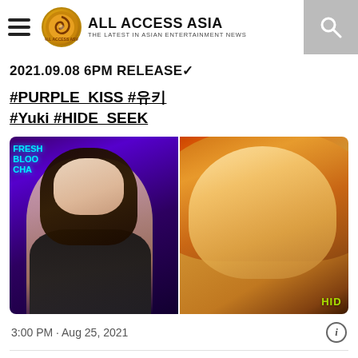ALL ACCESS ASIA - THE LATEST IN ASIAN ENTERTAINMENT NEWS
2021.09.08 6PM RELEASE✓
#PURPLE_KISS #유키 #Yuki #HIDE_SEEK
[Figure (photo): Two promotional photos of K-pop artist Yuki from PURPLE_KISS for their HIDE & SEEK release. Left photo shows a girl in a black outfit in front of a neon-lit background with 'FRESH BLOOD' text. Right photo is a close-up beauty shot with warm orange-red lighting.]
3:00 PM · Aug 25, 2021
18.5K  Reply  Copy link